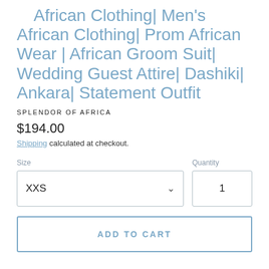African Clothing| Men's African Clothing| Prom African Wear | African Groom Suit| Wedding Guest Attire| Dashiki| Ankara| Statement Outfit
SPLENDOR OF AFRICA
$194.00
Shipping calculated at checkout.
Size
XXS
Quantity
1
ADD TO CART